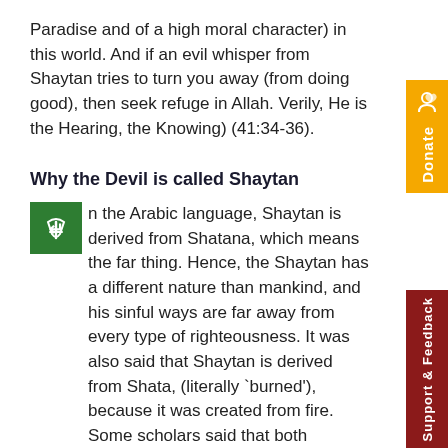Paradise and of a high moral character) in this world. And if an evil whisper from Shaytan tries to turn you away (from doing good), then seek refuge in Allah. Verily, He is the Hearing, the Knowing) (41:34-36).
Why the Devil is called Shaytan
In the Arabic language, Shaytan is derived from Shatana, which means the far thing. Hence, the Shaytan has a different nature than mankind, and his sinful ways are far away from every type of righteousness. It was also said that Shaytan is derived from Shata, (literally `burned'), because it was created from fire. Some scholars said that both meanings are correct, although they state that the first meaning is more plausible. Further, Siybawayh (the renowned Arab linguistic) said, "The Arabs say, `So-and-so has